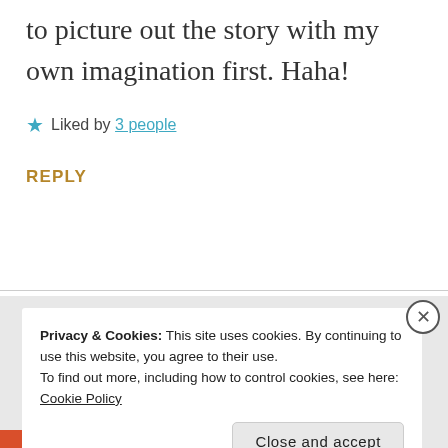to picture out the story with my own imagination first. Haha!
★ Liked by 3 people
REPLY
Privacy & Cookies: This site uses cookies. By continuing to use this website, you agree to their use.
To find out more, including how to control cookies, see here: Cookie Policy
Close and accept